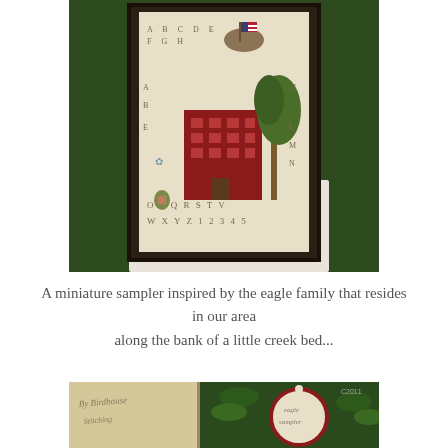[Figure (photo): A framed cross-stitch sampler featuring a red colonial house, a tree with an eagle holding an American flag, alphabet letters, and numbers, displayed against a green leafy background with red flowers.]
A miniature sampler inspired by the eagle family that resides in our area along the bank of a little creek bed...
[Figure (photo): A partially visible needlework or embroidery piece with a circular red-bordered design featuring decorative stitching, placed among green foliage.]